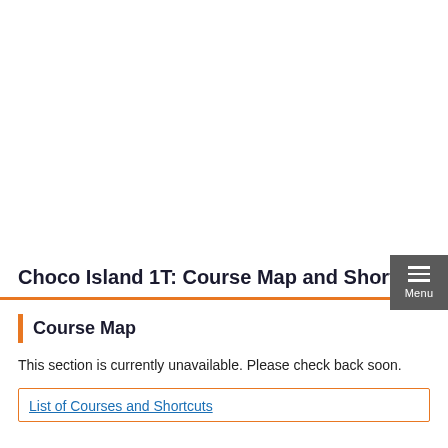Choco Island 1T: Course Map and Shortcuts
Course Map
This section is currently unavailable. Please check back soon.
List of Courses and Shortcuts